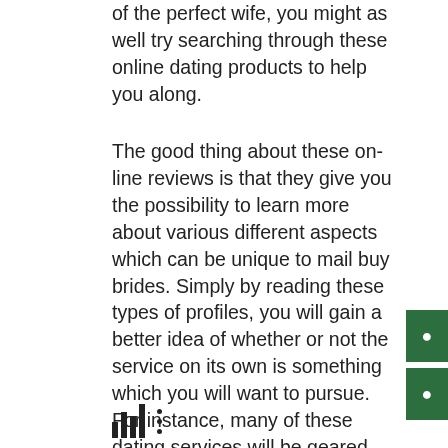of the perfect wife, you might as well try searching through these online dating products to help you along.
The good thing about these on-line reviews is that they give you the possibility to learn more about various different aspects which can be unique to mail buy brides. Simply by reading these types of profiles, you will gain a better idea of whether or not the service on its own is something which you will want to pursue. For instance, many of these dating services will be geared even more towards certain cultures. In this instance, if you are via a different customs, you may want to try looking through these websites to determine which ones might be well worth joining.